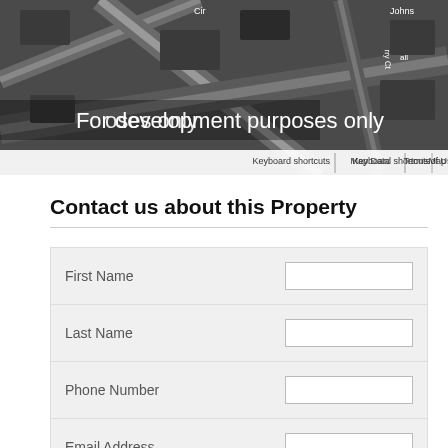[Figure (map): Aerial map screenshot showing residential streets with labels 'For development purposes only'. Bottom bar shows 'Keyboard shortcuts | Map Data | Terms of Use'.]
Contact us about this Property
| Field | Input |
| --- | --- |
| First Name |  |
| Last Name |  |
| Phone Number |  |
| Email Address |  |
| Schedule a Showing? | ☐ |
| Comments |  |